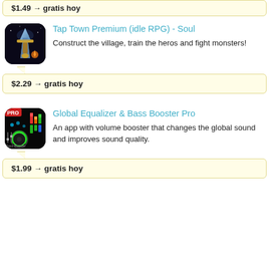$1.49 → gratis hoy
Tap Town Premium (idle RPG) - Soul
Construct the village, train the heros and fight monsters!
$2.29 → gratis hoy
Global Equalizer & Bass Booster Pro
An app with volume booster that changes the global sound and improves sound quality.
$1.99 → gratis hoy